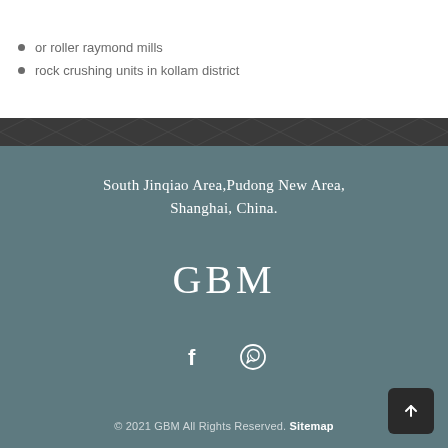or roller raymond mills
rock crushing units in kollam district
South Jinqiao Area,Pudong New Area, Shanghai, China.
GBM
[Figure (illustration): Social media icons: Facebook and WhatsApp]
© 2021 GBM All Rights Reserved. Sitemap